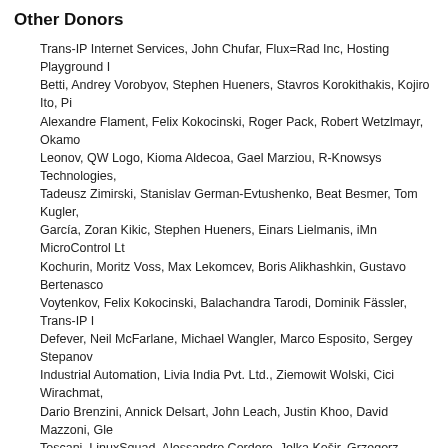Other Donors
Trans-IP Internet Services, John Chufar, Flux=Rad Inc, Hosting Playground I... Betti, Andrey Vorobyov, Stephen Hueners, Stavros Korokithakis, Kojiro Ito, Pi... Alexandre Flament, Felix Kokocinski, Roger Pack, Robert Wetzlmayr, Okamo... Leonov, QW Logo, Kioma Aldecoa, Gael Marziou, R-Knowsys Technologies,... Tadeusz Zimirski, Stanislav German-Evtushenko, Beat Besmer, Tom Kugler,... García, Zoran Kikic, Stephen Hueners, Einars Lielmanis, iMn MicroControl Lt... Kochurin, Moritz Voss, Max Lekomcev, Boris Alikhashkin, Gustavo Bertenasco... Voytenkov, Felix Kokocinski, Balachandra Tarodi, Dominik Fässler, Trans-IP I... Defever, Neil McFarlane, Michael Wangler, Marco Esposito, Sergey Stepanov... Industrial Automation, Livia India Pvt. Ltd., Ziemowit Wolski, Cici Wirachmat,... Dario Brenzini, Annick Delsart, John Leach, Justin Khoo, David Mazzoni, Gle... Toscani, LinuxSquad, Alessandro Cordero, Jelka Košir, Grzegorz Miklaszews... Alexey Rubanovskiy, Mindaugas Balciunas, Robert Pergl, Autocybermedia, R... Christopher Martin, Peanut Hosting, Pashkevich Dmitriy, Kato Kyoji, Andreas... Jamila Khan, Praveen Bhamidipati, Dmitriy Pashkevitch, Robert Wetzlmayr, D... Slepkow, Marvax Sl Jorge Maertinez, Robert Wetzlmayr, Bradley Kulkin, Dan... Michael Schneider, Roland Ott, Pierre Cornic, Bradley Kulkin, Gordon Brown,... Kovalenko, Marvax, Максим Туркин, Zhoutian Dai, in2code
qualcomm.png (3.66 KB) Jean-Philippe Lang, 2011-03-08 19:07
hms.png (12.3 KB) Jean-Philippe Lang, 2012-12-20 18:40
easysoftware.png (3.29 KB) Jean-Philippe Lang, 2013-01-31 21:13
duruan.gif (2.18 KB) Jean-Philippe Lang, 2013-01-31 21:15
nu.png (1.69 KB) Jean-Philippe Lang, 2013-01-31 21:17
code_lutin.png (4.96 KB) Jean-Philippe Lang, 2013-10-05 11:23
bitnami.png (2.83 KB) Jean-Philippe Lang, 2013-11-20 19:11
sligro.png (5.18 KB) Jean-Philippe Lang, 2014-07-28 21:21